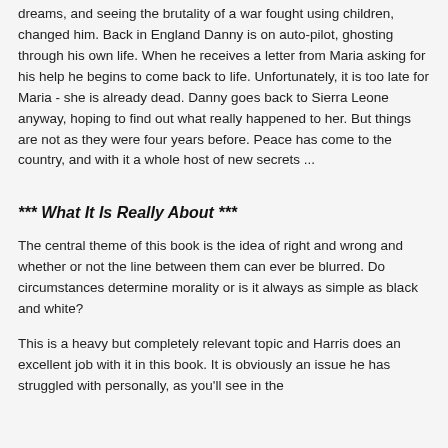dreams, and seeing the brutality of a war fought using children, changed him. Back in England Danny is on auto-pilot, ghosting through his own life. When he receives a letter from Maria asking for his help he begins to come back to life. Unfortunately, it is too late for Maria - she is already dead. Danny goes back to Sierra Leone anyway, hoping to find out what really happened to her. But things are not as they were four years before. Peace has come to the country, and with it a whole host of new secrets ...
*** What It Is Really About ***
The central theme of this book is the idea of right and wrong and whether or not the line between them can ever be blurred. Do circumstances determine morality or is it always as simple as black and white?
This is a heavy but completely relevant topic and Harris does an excellent job with it in this book. It is obviously an issue he has struggled with personally, as you'll see in the